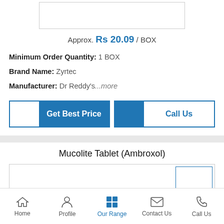[Figure (photo): Product image placeholder rectangle]
Approx. Rs 20.09 / BOX
Minimum Order Quantity: 1 BOX
Brand Name: Zyrtec
Manufacturer: Dr Reddy's...more
[Figure (screenshot): Get Best Price and Call Us buttons]
Mucolite Tablet (Ambroxol)
[Figure (photo): Mucolite product image with thumbnail images on the right]
Home   Profile   Our Range   Contact Us   Call Us